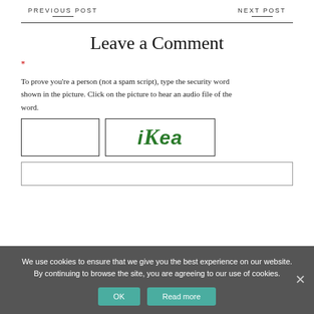PREVIOUS POST     NEXT POST
Leave a Comment
*
To prove you're a person (not a spam script), type the security word shown in the picture. Click on the picture to hear an audio file of the word.
[Figure (screenshot): CAPTCHA input box (empty white box) and CAPTCHA image showing the word 'iKea' in green stylized text]
We use cookies to ensure that we give you the best experience on our website. By continuing to browse the site, you are agreeing to our use of cookies.